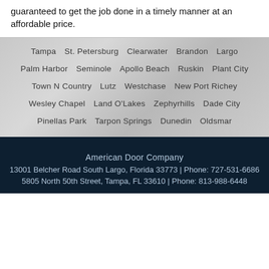guaranteed to get the job done in a timely manner at an affordable price.
Tampa  St. Petersburg  Clearwater  Brandon  Largo
Palm Harbor  Seminole  Apollo Beach  Ruskin  Plant City
Town N Country  Lutz  Westchase  New Port Richey
Wesley Chapel  Land O'Lakes  Zephyrhills  Dade City
Pinellas Park  Tarpon Springs  Dunedin  Oldsmar
American Door Company
13001 Belcher Road South Largo, Florida 33773 | Phone: 727-531-6686
5805 North 50th Street, Tampa, FL 33610 | Phone: 813-988-6448